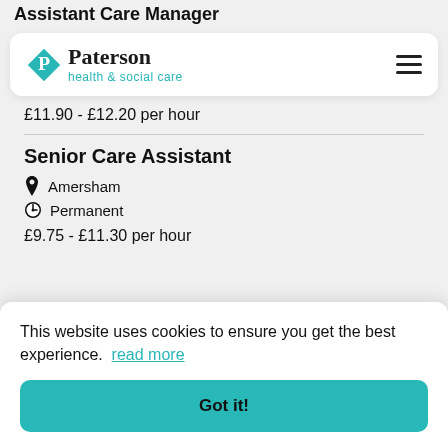Assistant Care Manager
[Figure (logo): Paterson health & social care logo with teal diamond shape]
£11.90 - £12.20 per hour
Senior Care Assistant
Amersham
Permanent
£9.75 - £11.30 per hour
This website uses cookies to ensure you get the best experience. read more
Got it!